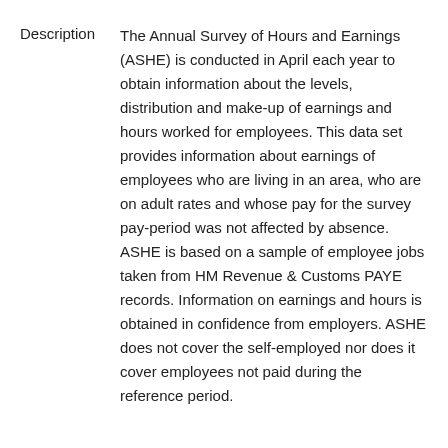Description	The Annual Survey of Hours and Earnings (ASHE) is conducted in April each year to obtain information about the levels, distribution and make-up of earnings and hours worked for employees. This data set provides information about earnings of employees who are living in an area, who are on adult rates and whose pay for the survey pay-period was not affected by absence. ASHE is based on a sample of employee jobs taken from HM Revenue & Customs PAYE records. Information on earnings and hours is obtained in confidence from employers. ASHE does not cover the self-employed nor does it cover employees not paid during the reference period.